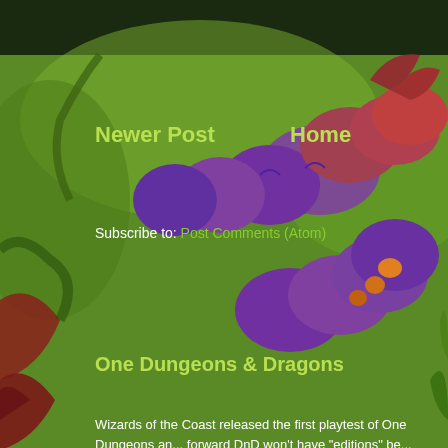[Figure (illustration): Fantasy RPG illustration showing a large purple and red segmented worm/caterpillar creature with claws, set against a green jungle background with various fantasy elements]
Newer Post
Home
Subscribe to: Post Comments (Atom)
One Dungeons & Dragons
Wizards of the Coast released the first playtest of One Dungeons an... forward DnD won't have "editions" be...